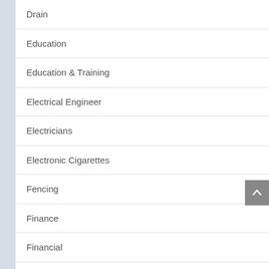Drain
Education
Education & Training
Electrical Engineer
Electricians
Electronic Cigarettes
Fencing
Finance
Financial